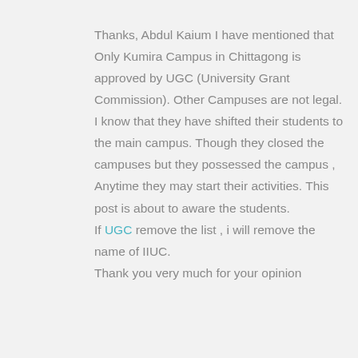Thanks, Abdul Kaium I have mentioned that Only Kumira Campus in Chittagong is approved by UGC (University Grant Commission). Other Campuses are not legal. I know that they have shifted their students to the main campus. Though they closed the campuses but they possessed the campus , Anytime they may start their activities. This post is about to aware the students. If UGC remove the list , i will remove the name of IIUC. Thank you very much for your opinion